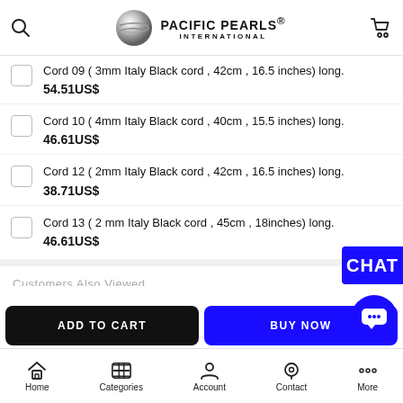PACIFIC PEARLS® INTERNATIONAL
Cord 09 ( 3mm Italy Black cord , 42cm , 16.5 inches) long.
54.51US$
Cord 10 ( 4mm Italy Black cord , 40cm , 15.5 inches) long.
46.61US$
Cord 12 ( 2mm Italy Black cord , 42cm , 16.5 inches) long.
38.71US$
Cord 13 ( 2 mm Italy Black cord , 45cm , 18inches) long.
46.61US$
Customers Also Viewed
CHAT
ADD TO CART
BUY NOW
Home | Categories | Account | Contact | More